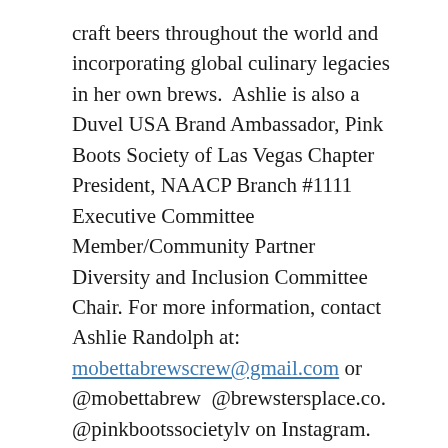craft beers throughout the world and incorporating global culinary legacies in her own brews.  Ashlie is also a Duvel USA Brand Ambassador, Pink Boots Society of Las Vegas Chapter President, NAACP Branch #1111 Executive Committee Member/Community Partner Diversity and Inclusion Committee Chair. For more information, contact Ashlie Randolph at: mobettabrewscrew@gmail.com or @mobettabrew  @brewstersplace.co. @pinkbootssocietylv on Instagram.
About Sarah Perez
I want all females to walk beside me along the